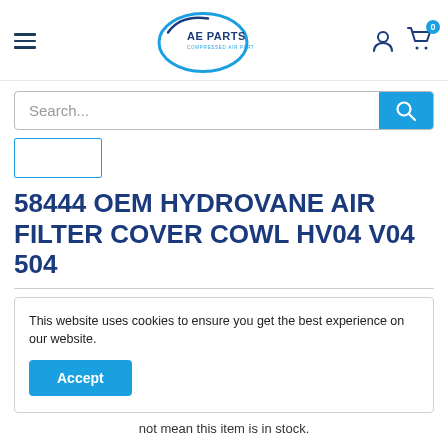[Figure (logo): AE Parts – Compressed Air Parts logo with blue oval swoosh]
Search...
58444 OEM HYDROVANE AIR FILTER COVER COWL HV04 V04 504
This website uses cookies to ensure you get the best experience on our website.
Accept
not mean this item is in stock.